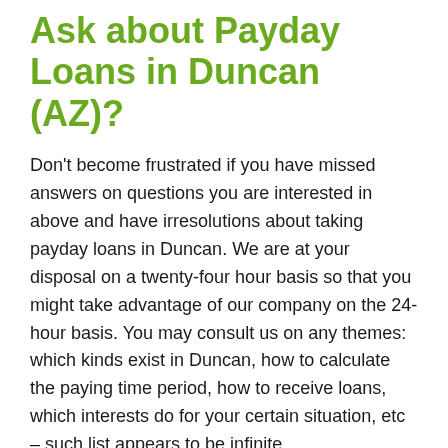Ask about Payday Loans in Duncan (AZ)?
Don't become frustrated if you have missed answers on questions you are interested in above and have irresolutions about taking payday loans in Duncan. We are at your disposal on a twenty-four hour basis so that you might take advantage of our company on the 24-hour basis. You may consult us on any themes: which kinds exist in Duncan, how to calculate the paying time period, how to receive loans, which interests do for your certain situation, etc – such list appears to be infinite.
We are ready to grant you a good finance aid you may need so much by giving you the conditions and terms you would cope with surely. Thanks to us, you